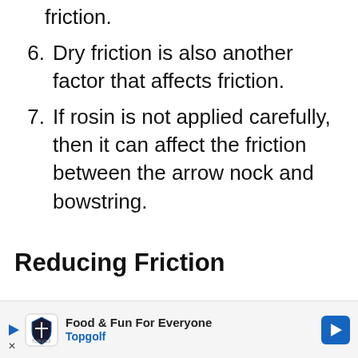friction.
6. Dry friction is also another factor that affects friction.
7. If rosin is not applied carefully, then it can affect the friction between the arrow nock and bowstring.
Reducing Friction
Factors that can help in reducing
[Figure (other): Advertisement banner for Topgolf: 'Food & Fun For Everyone' with Topgolf logo, play button, navigation arrow, and close button.]